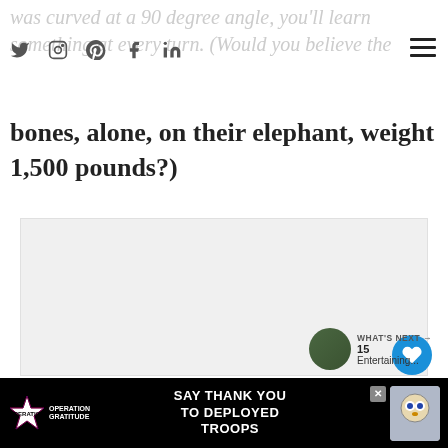was curved at a 90 degree angle, you'll learn something at every turn. (Would you believe the
bones, alone, on their elephant, weight 1,500 pounds?)
[Figure (photo): Large light gray image placeholder area]
WHAT'S NEXT → 15 Entertaining...
[Figure (infographic): Advertisement banner: Operation Gratitude - SAY THANK YOU TO DEPLOYED TROOPS with logo and owl illustration]